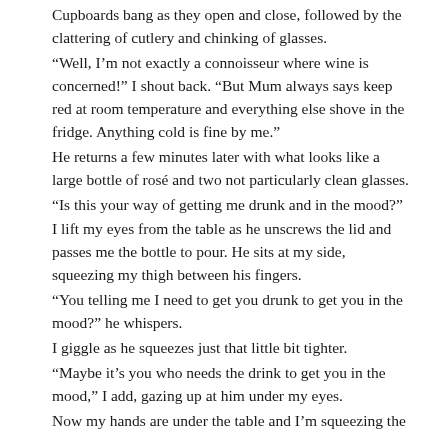Cupboards bang as they open and close, followed by the clattering of cutlery and chinking of glasses.
“Well, I’m not exactly a connoisseur where wine is concerned!” I shout back. “But Mum always says keep red at room temperature and everything else shove in the fridge. Anything cold is fine by me.”
He returns a few minutes later with what looks like a large bottle of rosé and two not particularly clean glasses.
“Is this your way of getting me drunk and in the mood?”
I lift my eyes from the table as he unscrews the lid and passes me the bottle to pour. He sits at my side, squeezing my thigh between his fingers.
“You telling me I need to get you drunk to get you in the mood?” he whispers.
I giggle as he squeezes just that little bit tighter.
“Maybe it’s you who needs the drink to get you in the mood,” I add, gazing up at him under my eyes.
Now my hands are under the table and I’m squeezing the